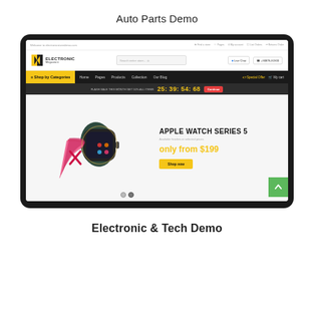Auto Parts Demo
[Figure (screenshot): Screenshot of an Electronic Megastore demo website showing Apple Watch Series 5 promotion with 'only from $199' price and a countdown timer showing 25:39:54:68]
Electronic & Tech Demo